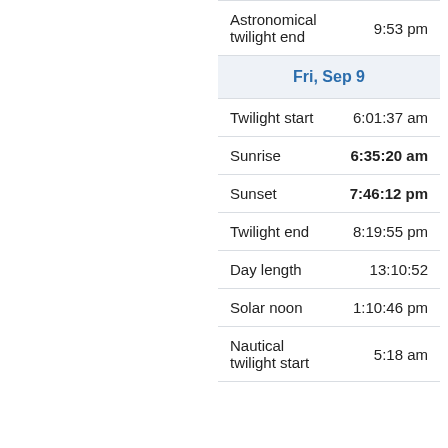| Event | Time |
| --- | --- |
| Astronomical twilight end | 9:53 pm |
| Fri, Sep 9 |  |
| Twilight start | 6:01:37 am |
| Sunrise | 6:35:20 am |
| Sunset | 7:46:12 pm |
| Twilight end | 8:19:55 pm |
| Day length | 13:10:52 |
| Solar noon | 1:10:46 pm |
| Nautical twilight start | 5:18 am |